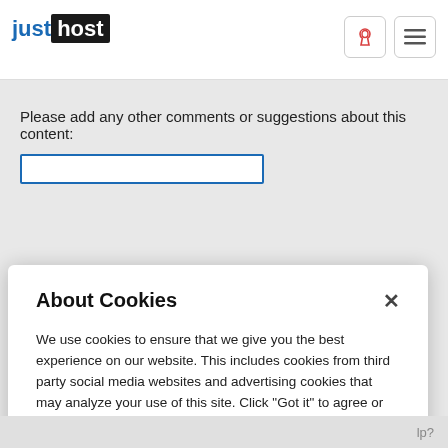[Figure (logo): JustHost logo: 'just' in blue text followed by 'host' in white text on dark background]
Please add any other comments or suggestions about this content:
About Cookies
We use cookies to ensure that we give you the best experience on our website. This includes cookies from third party social media websites and advertising cookies that may analyze your use of this site. Click "Got it" to agree or "Cookie Settings" to opt out.
Cookie Notice
Got It
Cookies Settings